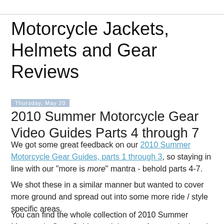Motorcycle Jackets, Helmets and Gear Reviews
Thursday, May 20
2010 Summer Motorcycle Gear Video Guides Parts 4 through 7
We got some great feedback on our 2010 Summer Motorcycle Gear Guides, parts 1 through 3, so staying in line with our "more is more" mantra - behold parts 4-7.
We shot these in a similar manner but wanted to cover more ground and spread out into some more ride / style specific areas.
You can find the whole collection of 2010 Summer Motorcycle Gear Guides and the gear features in them in on